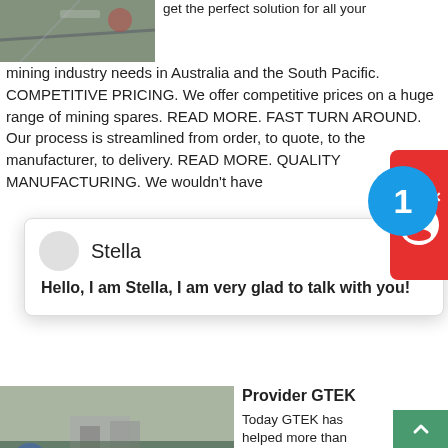[Figure (photo): Mining site gravel/rock photograph, top-left]
get the perfect solution for all your mining industry needs in Australia and the South Pacific. COMPETITIVE PRICING. We offer competitive prices on a huge range of mining spares. READ MORE. FAST TURN AROUND. Our process is streamlined from order, to quote, to the manufacturer, to delivery. READ MORE. QUALITY MANUFACTURING. We wouldn't have
[Figure (screenshot): Chat popup with avatar, name Stella, and message: Hello, I am Stella, I am very glad to talk with you!]
[Figure (photo): Mining facility/crusher site photograph, lower-left]
Provider GTEK
Today GTEK has helped more than 500 companies in more than 30 countries improve or solve their wear problems. Discover more . WHAT WE OFFER. GTEK MINING® provides most kinds of crusher wear parts, crusher spare parts, mill liners, hydrocyclone